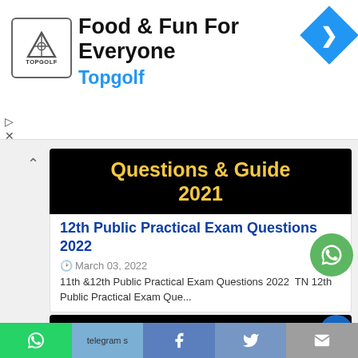[Figure (screenshot): Topgolf advertisement banner with logo, 'Food & Fun For Everyone' heading, 'Topgolf' subtitle in blue, and a blue direction arrow icon on right]
[Figure (screenshot): Black banner image with yellow bold text 'Questions & Guide 2021']
12th Public Practical Exam Questions 2022
March 03, 2022
11th &12th Public Practical Exam Questions 2022  TN 12th Public Practical Exam Que...
[Figure (screenshot): Black banner with yellow bold text '11th & 12th']
WhatsApp | Telegram | Facebook | Twitter | Email